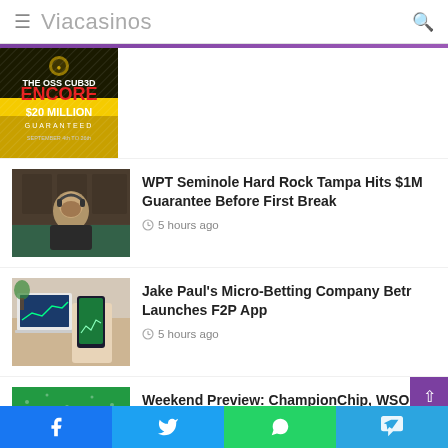Viacasinos
[Figure (photo): OSS CUB3D ENCORE $20 Million Guaranteed advertisement banner, black and yellow background]
[Figure (photo): Poker player sitting at table wearing headphones]
WPT Seminole Hard Rock Tampa Hits $1M Guarantee Before First Break
5 hours ago
[Figure (photo): Person holding smartphone showing betting app, laptop in background]
Jake Paul's Micro-Betting Company Betr Launches F2P App
5 hours ago
[Figure (photo): Weekend preview article thumbnail with green background and WEEKEND text]
Weekend Preview: ChampionChip, WSOP, WCOOP, and MILLIONS Online!